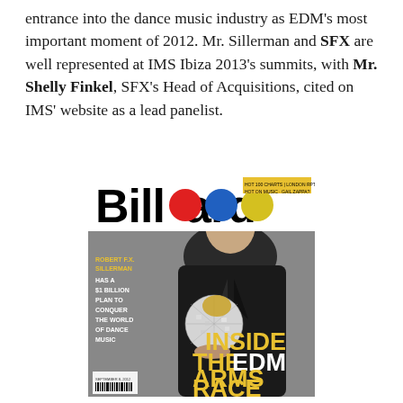entrance into the dance music industry as EDM's most important moment of 2012. Mr. Sillerman and SFX are well represented at IMS Ibiza 2013's summits, with Mr. Shelly Finkel, SFX's Head of Acquisitions, cited on IMS' website as a lead panelist.
[Figure (photo): Billboard magazine cover featuring Robert F.X. Sillerman holding a disco ball, with the headline 'INSIDE THE EDM ARMS RACE']